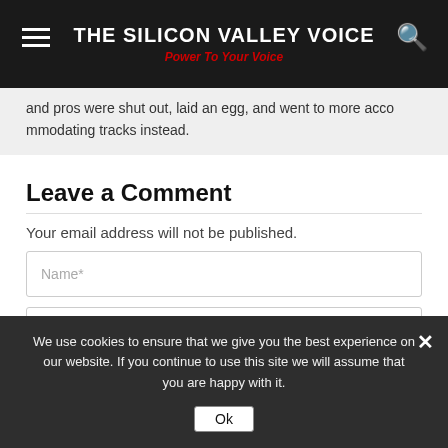THE SILICON VALLEY VOICE | Power To Your Voice
and pros were shut out, laid an egg, and went to more accommodating tracks instead.
Leave a Comment
Your email address will not be published.
Name*
Email*
We use cookies to ensure that we give you the best experience on our website. If you continue to use this site we will assume that you are happy with it.